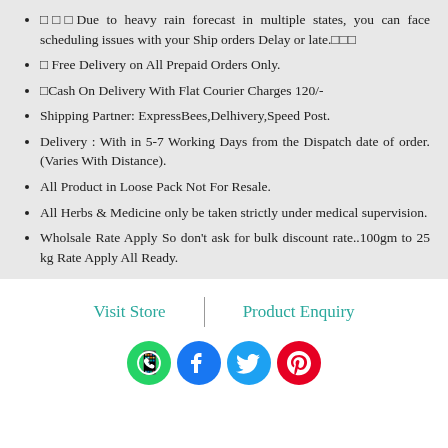□□□Due to heavy rain forecast in multiple states, you can face scheduling issues with your Ship orders Delay or late.□□□
□ Free Delivery on All Prepaid Orders Only.
□Cash On Delivery With Flat Courier Charges 120/-
Shipping Partner: ExpressBees,Delhivery,Speed Post.
Delivery : With in 5-7 Working Days from the Dispatch date of order.(Varies With Distance).
All Product in Loose Pack Not For Resale.
All Herbs & Medicine only be taken strictly under medical supervision.
Wholsale Rate Apply So don't ask for bulk discount rate..100gm to 25 kg Rate Apply All Ready.
Visit Store | Product Enquiry
[Figure (infographic): Social media icons: WhatsApp (green), Facebook (blue), Twitter (cyan), Pinterest (red)]